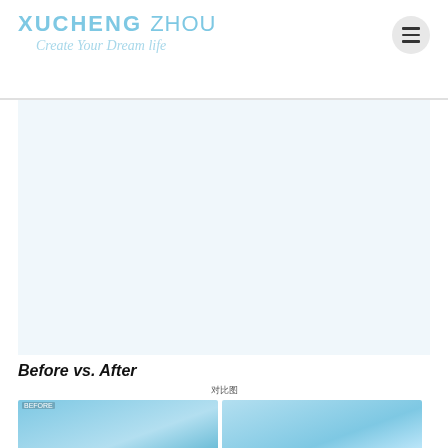XUCHENG ZHOU — Create Your Dream Life
[Figure (other): Advertisement placeholder area (light blue background)]
Before vs. After
对比图
[Figure (photo): Two side-by-side before and after comparison photos, both with blue sky tones]